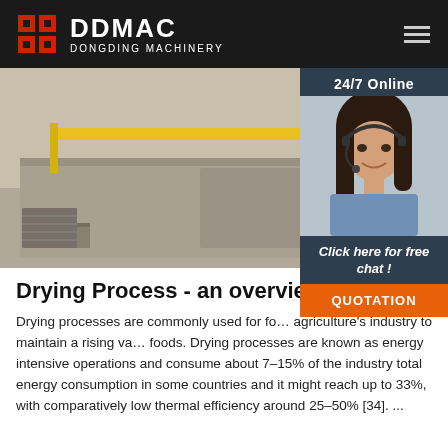DDMAC DONGDING MACHINERY
[Figure (photo): Industrial machinery/drying equipment in a factory setting with yellow overhead crane structure and large flat dryer units on the floor.]
[Figure (photo): 24/7 Online customer service agent - smiling woman wearing a headset, with dark hair, in a blue shirt. Includes 'Click here for free chat!' call-to-action and orange QUOTATION button.]
Drying Process - an overvie…
Drying processes are commonly used for fo… agriculture's industry to maintain a rising va… foods. Drying processes are known as energy intensive operations and consume about 7–15% of the industry total energy consumption in some countries and it might reach up to 33%, with comparatively low thermal efficiency around 25–50% [34]. ...